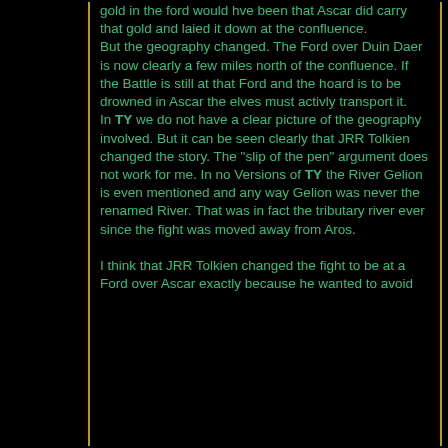gold in the ford would hve been that Ascar did carry that gold and laied it down at the confluence. But the geography changed. The Ford over Duin Daer is now clearly a few miles north of the confluence. If the Battle is still at that Ford and the hoard is to be drowned in Ascar the elves must activly transport it. In TY we do not have a clear picture of the geography involved. But it can be seen clearly that JRR Tolkien changed the story. The "slip of the pen" argument does not work for me. In no Versions of TY the River Gelion is even mentioned and any way Gelion was never the renamed River. That was in fact the tributary river ever since the fight was moved away from Aros.

I think that JRR Tolkien changed the fight to be at a Ford over Ascar exactly because he wanted to avoid